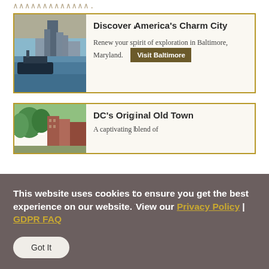[Figure (other): Decorative spiral/handwritten text at top of page]
[Figure (photo): Photo of Baltimore harbor with boat and city skyline at dusk]
Discover America's Charm City
Renew your spirit of exploration in Baltimore, Maryland.
Visit Baltimore
[Figure (photo): Photo of DC Old Town street with trees and red brick buildings]
DC's Original Old Town
A captivating blend of
This website uses cookies to ensure you get the best experience on our website. View our Privacy Policy | GDPR FAQ
Got It